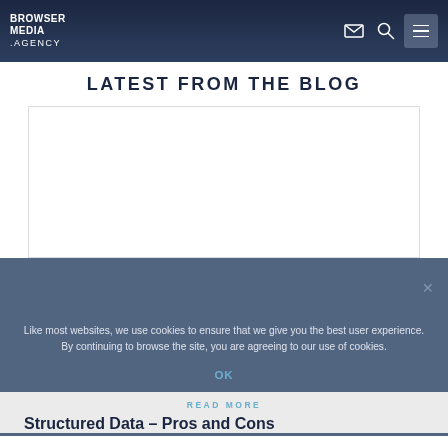BROWSER MEDIA .AGENCY
LATEST FROM THE BLOG
[Figure (photo): White rectangular blog image placeholder area]
Like most websites, we use cookies to ensure that we give you the best user experience. By continuing to browse the site, you are agreeing to our use of cookies.
OK
READ MORE
Structured Data – Pros and Cons